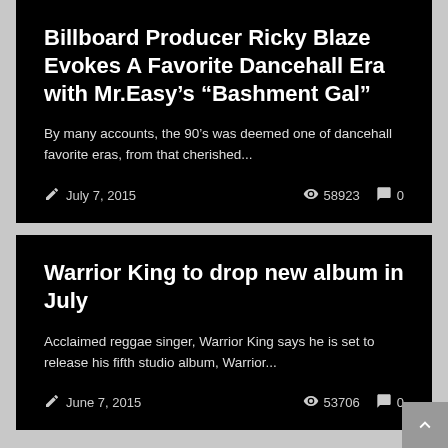Billboard Producer Ricky Blaze Evokes A Favorite Dancehall Era with Mr.Easy’s “Bashment Gal”
By many accounts, the 90’s was deemed one of dancehall favorite eras, from that cherished...
July 7, 2015   58923   0
Warrior King to drop new album in July
Acclaimed reggae singer, Warrior King says he is set to release his fifth studio album, Warrior...
June 7, 2015   53706   0